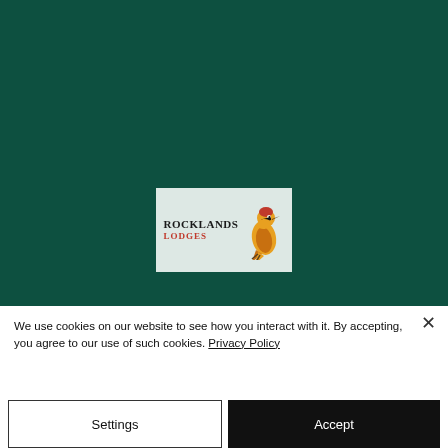[Figure (logo): Rocklands Lodges logo: text 'ROCKLANDS LODGES' with an illustrated woodpecker bird in yellow, orange and red on a light grey-green background]
We use cookies on our website to see how you interact with it. By accepting, you agree to our use of such cookies. Privacy Policy
Settings
Accept